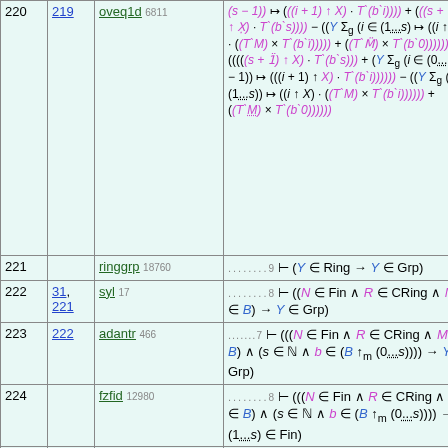| # | Ref | Name | Formula |
| --- | --- | --- | --- |
| 220 | 219 | oveq1d 6811 | (s − 1)) ↦ (((i + 1) ↑ X) · (T`(b`i)))) + (((s + 1) ↑ X) · (T`(b`s)))) − ((Y Σ_g (i ∈ (1...s) ↦ ((i ↑ X) · ((T`M) × (T`(b`i)))))) + ((T`M) × (T`(b`0))))) = ((((s + 1) ↑ X) · (T`(b`s))) + (Y Σ_g (i ∈ (0...(s − 1)) ↦ (((i + 1) ↑ X) · (T`(b`i)))))) − ((Y Σ_g (i ∈ (1...s) ↦ ((i ↑ X) · ((T`M) × (T`(b`i)))))) + ((T`M) × (T`(b`0)))))))) |
| 221 |  | ringgrp 18760 | ........9 ⊢ (Y ∈ Ring → Y ∈ Grp) |
| 222 | 31, 221 | syl 17 | ........8 ⊢ ((N ∈ Fin ∧ R ∈ CRing ∧ M ∈ B) → Y ∈ Grp) |
| 223 | 222 | adantr 466 | .......7 ⊢ (((N ∈ Fin ∧ R ∈ CRing ∧ M ∈ B) ∧ (s ∈ ℕ ∧ b ∈ (B ↑_m (0...s)))) → Y ∈ Grp) |
| 224 |  | fzfid 12980 | ........8 ⊢ (((N ∈ Fin ∧ R ∈ CRing ∧ M ∈ B) ∧ (s ∈ ℕ ∧ b ∈ (B ↑_m (0...s)))) → (1...s) ∈ Fin) |
| 225 | 91 | adantr 466 | ..........10 ⊢ ((((N ∈ Fin ∧ R ∈ CRing ∧ M ∈ B) ∧ (s ∈ ℕ ∧ b |